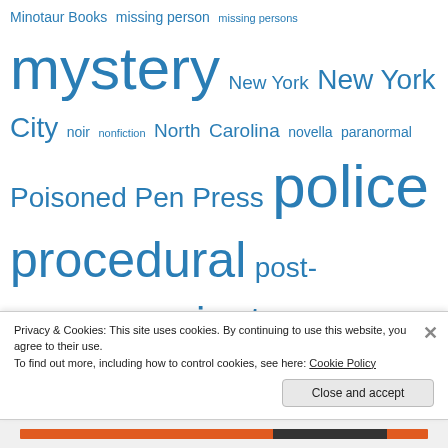Minotaur Books missing person missing persons mystery New York New York City noir nonfiction North Carolina novella paranormal Poisoned Pen Press police procedural post-apocalyptic private investigator private investigators psychological suspense psychological thriller romance San Francisco Scholastic Press science fiction Scotland secrets Self-published serial killer Seventh Street Books small town Soho Crime St. Martin's Press supernatural
Privacy & Cookies: This site uses cookies. By continuing to use this website, you agree to their use. To find out more, including how to control cookies, see here: Cookie Policy
Close and accept